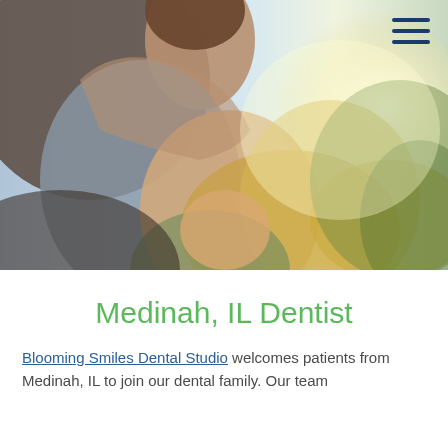[Figure (photo): A smiling couple outdoors in bright sunlight; a man leans over a woman with long blonde hair, both smiling; soft bokeh background with green trees.]
Medinah, IL Dentist
Blooming Smiles Dental Studio welcomes patients from Medinah, IL to join our dental family. Our team